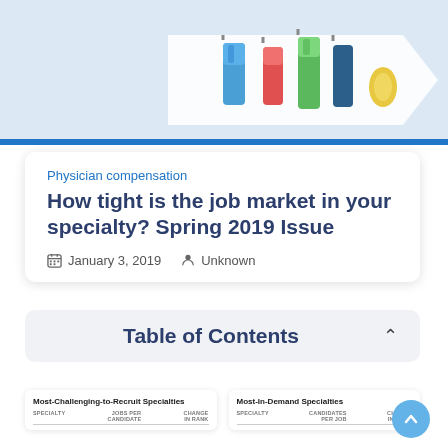[Figure (illustration): Top banner with light blue background and colorful medical/laboratory tube illustrations (test tubes, pills) on the right side with a blue bottom border bar.]
Physician compensation
How tight is the job market in your specialty? Spring 2019 Issue
January 3, 2019   Unknown
Table of Contents
| SPECIALTY | JOBS PER CANDIDATE | CHANGE IN RANK |
| --- | --- | --- |
| SPECIALTY | CANDIDATES PER JOB | CHANGE IN RANK |
| --- | --- | --- |